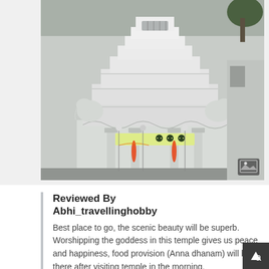[Figure (photo): Photograph of a white South Indian Hindu temple gopuram (tower) with ornate carvings, elephant statues on the sides, decorative columns at the entrance, orange flower garlands, and a colorful banner. The temple architecture is white/light grey marble with intricate sculptural details.]
Reviewed By Abhi_travellinghobby
Best place to go, the scenic beauty will be superb. Worshipping the goddess in this temple gives us peace and happiness, food provision (Anna dhanam) will be there after visiting temple in the morning. Kunkumarchan and aarti to goddess doesn't...